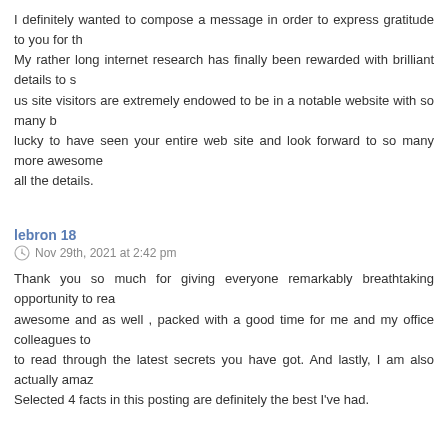I definitely wanted to compose a message in order to express gratitude to you for th... My rather long internet research has finally been rewarded with brilliant details to s... us site visitors are extremely endowed to be in a notable website with so many b... lucky to have seen your entire web site and look forward to so many more awesome... all the details.
lebron 18
Nov 29th, 2021 at 2:42 pm
Thank you so much for giving everyone remarkably breathtaking opportunity to rea... awesome and as well , packed with a good time for me and my office colleagues to... to read through the latest secrets you have got. And lastly, I am also actually amaz... Selected 4 facts in this posting are definitely the best I've had.
lebron shoes
Nov 29th, 2021 at 11:09 pm
I must show my appreciation to you for rescuing me from such a condition. After g... getting advice that were not pleasant, I was thinking my life was gone. Being alive... solved through your guideline is a critical case, as well as ones which may have ad... across your web page. Your good skills and kindness in dealing with every aspect w... had not come upon such a step like this. I can also at this moment relish my future.... sensible guide. I will not hesitate to endorse the website to any person who should h...